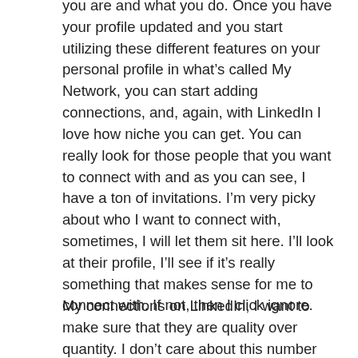you are and what you do. Once you have your profile updated and you start utilizing these different features on your personal profile in what's called My Network, you can start adding connections, and, again, with LinkedIn I love how niche you can get. You can really look for those people that you want to connect with and as you can see, I have a ton of invitations. I'm very picky about who I want to connect with, sometimes, I will let them sit here. I'll look at their profile, I'll see if it's really something that makes sense for me to connect with. If not, then I click ignore.
My connections on LinkedIn, I want to make sure that they are quality over quantity. I don't care about this number but I want people that I'm connected with that are going to engage on my posts and make sure that we have things in common. Maybe they would be a